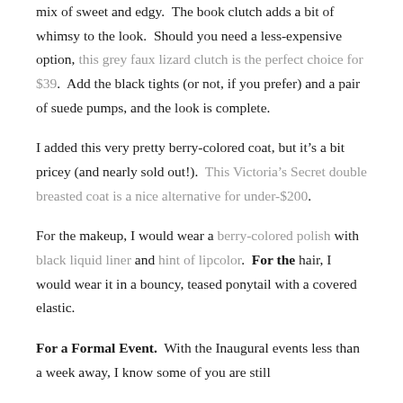mix of sweet and edgy. The book clutch adds a bit of whimsy to the look. Should you need a less-expensive option, this grey faux lizard clutch is the perfect choice for $39. Add the black tights (or not, if you prefer) and a pair of suede pumps, and the look is complete.
I added this very pretty berry-colored coat, but it's a bit pricey (and nearly sold out!). This Victoria's Secret double breasted coat is a nice alternative for under-$200.
For the makeup, I would wear a berry-colored polish with black liquid liner and hint of lipcolor. For the hair, I would wear it in a bouncy, teased ponytail with a covered elastic.
For a Formal Event. With the Inaugural events less than a week away, I know some of you are still